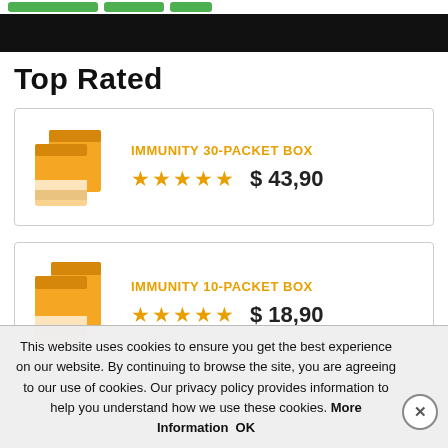[Figure (screenshot): Black navigation bar at the top of a webpage]
Top Rated
[Figure (illustration): Product card: Immunity 30-Packet Box, orange box image, 5 stars, $43,90]
[Figure (illustration): Product card: Immunity 10-Packet Box, orange box image, 5 stars, $18,90]
This website uses cookies to ensure you get the best experience on our website. By continuing to browse the site, you are agreeing to our use of cookies. Our privacy policy provides information to help you understand how we use these cookies. More Information OK